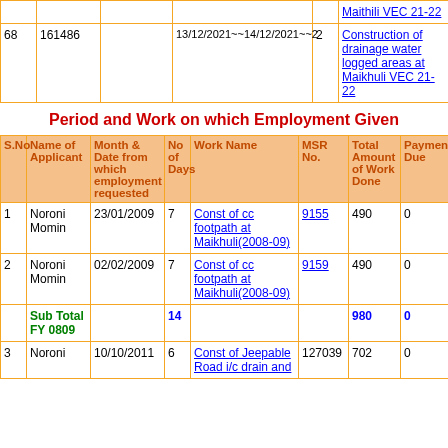| S.No | Name of Applicant | Month & Date from which employment requested | No of Days | Work Name | MSR No. | Total Amount of Work Done | Payment Due |
| --- | --- | --- | --- | --- | --- | --- | --- |
|  |  |  |  | Maithili VEC 21-22 |  |  |  |
| 68 | 161486 |  | 13/12/2021~~14/12/2021~~2 | 2 | Construction of drainage water logged areas at Maikhuli VEC 21-22 |  |  |
Period and Work on which Employment Given
| S.No | Name of Applicant | Month & Date from which employment requested | No of Days | Work Name | MSR No. | Total Amount of Work Done | Payment Due |
| --- | --- | --- | --- | --- | --- | --- | --- |
| 1 | Noroni Momin | 23/01/2009 | 7 | Const of cc footpath at Maikhuli(2008-09) | 9155 | 490 | 0 |
| 2 | Noroni Momin | 02/02/2009 | 7 | Const of cc footpath at Maikhuli(2008-09) | 9159 | 490 | 0 |
| Sub Total FY 0809 |  |  | 14 |  |  | 980 | 0 |
| 3 | Noroni | 10/10/2011 | 6 | Const of Jeepable Road i/c drain and | 127039 | 702 | 0 |